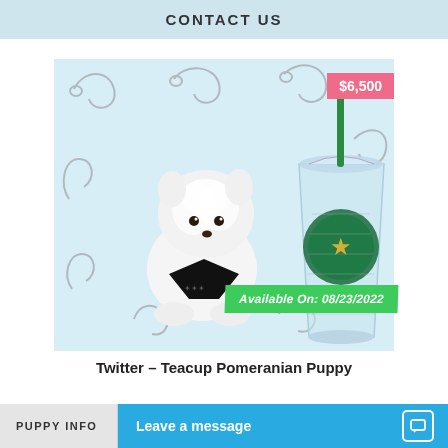CONTACT US
[Figure (photo): A tiny white Teacup Pomeranian puppy wearing a black bandana, sitting next to a large Starbucks clear cup with green straw on a decorative white background with dog-themed doodles. Price tag shows $6,500. Banner reads 'Available On: 08/23/2022'.]
Twitter – Teacup Pomeranian Puppy
PUPPY INFO
Leave a message